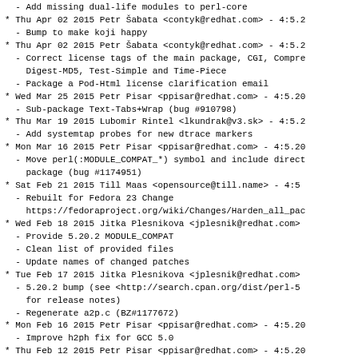- Add missing dual-life modules to perl-core
* Thu Apr 02 2015 Petr Šabata <contyk@redhat.com> - 4:5.2
  - Bump to make koji happy
* Thu Apr 02 2015 Petr Šabata <contyk@redhat.com> - 4:5.2
  - Correct license tags of the main package, CGI, Compre
    Digest-MD5, Test-Simple and Time-Piece
  - Package a Pod-Html license clarification email
* Wed Mar 25 2015 Petr Pisar <ppisar@redhat.com> - 4:5.20
  - Sub-package Text-Tabs+Wrap (bug #910798)
* Thu Mar 19 2015 Lubomir Rintel <lkundrak@v3.sk> - 4:5.2
  - Add systemtap probes for new dtrace markers
* Mon Mar 16 2015 Petr Pisar <ppisar@redhat.com> - 4:5.20
  - Move perl(:MODULE_COMPAT_*) symbol and include direct
    package (bug #1174951)
* Sat Feb 21 2015 Till Maas <opensource@till.name> - 4:5
  - Rebuilt for Fedora 23 Change
    https://fedoraproject.org/wiki/Changes/Harden_all_pac
* Wed Feb 18 2015 Jitka Plesnikova <jplesnik@redhat.com>
  - Provide 5.20.2 MODULE_COMPAT
  - Clean list of provided files
  - Update names of changed patches
* Tue Feb 17 2015 Jitka Plesnikova <jplesnik@redhat.com>
  - 5.20.2 bump (see <http://search.cpan.org/dist/perl-5
    for release notes)
  - Regenerate a2p.c (BZ#1177672)
* Mon Feb 16 2015 Petr Pisar <ppisar@redhat.com> - 4:5.20
  - Improve h2ph fix for GCC 5.0
* Thu Feb 12 2015 Petr Pisar <ppisar@redhat.com> - 4:5.20
  - Fix regressions with GCC 5.0
* Tue Feb 03 2015 Jitka Plesnikova <jplesnik@redhat.com>
  - Sub-package jre latest module